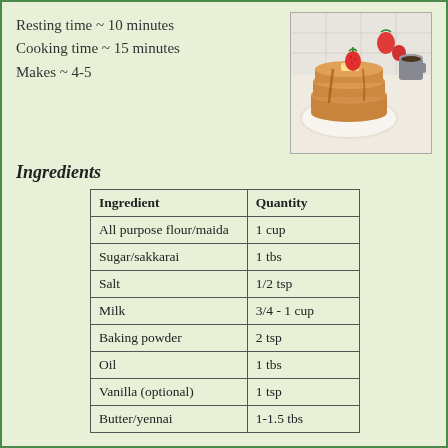Resting time ~ 10 minutes
Cooking time ~ 15 minutes
Makes ~ 4-5
[Figure (photo): Stack of golden pancakes topped with strawberries and syrup on a white plate, with strawberries and a cup in the background]
Ingredients
| Ingredient | Quantity |
| --- | --- |
| All purpose flour/maida | 1 cup |
| Sugar/sakkarai | 1 tbs |
| Salt | 1/2 tsp |
| Milk | 3/4 - 1 cup |
| Baking powder | 2 tsp |
| Oil | 1 tbs |
| Vanilla (optional) | 1 tsp |
| Butter/yennai | 1-1.5 tbs |